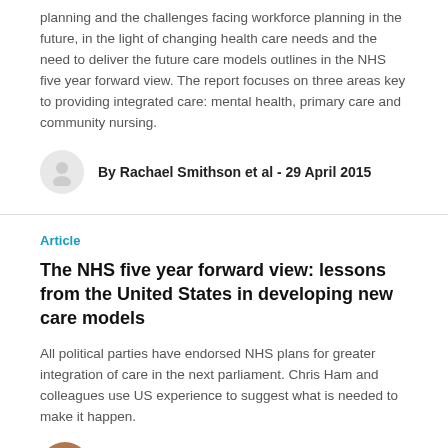planning and the challenges facing workforce planning in the future, in the light of changing health care needs and the need to deliver the future care models outlines in the NHS five year forward view. The report focuses on three areas key to providing integrated care: mental health, primary care and community nursing.
By Rachael Smithson et al - 29 April 2015
Article
The NHS five year forward view: lessons from the United States in developing new care models
All political parties have endorsed NHS plans for greater integration of care in the next parliament. Chris Ham and colleagues use US experience to suggest what is needed to make it happen.
By Rachael Smithson et al - 21 April 2015